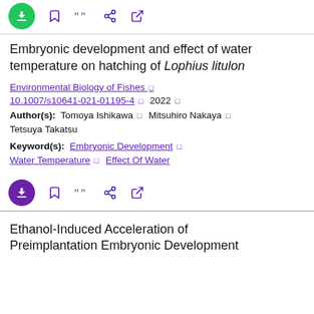[Figure (screenshot): Top toolbar with green download button and purple icons for bookmark, cite, share, external link]
Embryonic development and effect of water temperature on hatching of Lophius litulon
Environmental Biology of Fishes □ 10.1007/s10641-021-01195-4 □ 2022 □
Author(s): Tomoya Ishikawa □ Mitsuhiro Nakaya □ Tetsuya Takatsu
Keyword(s): Embryonic Development □ Water Temperature □ Effect Of Water
[Figure (screenshot): Bottom toolbar with purple download button and purple icons for bookmark, cite, share, external link]
Ethanol-Induced Acceleration of Preimplantation Embryonic Development